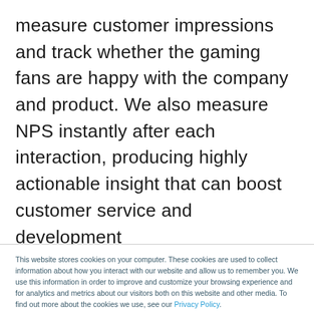measure customer impressions and track whether the gaming fans are happy with the company and product. We also measure NPS instantly after each interaction, producing highly actionable insight that can boost customer service and development
This website stores cookies on your computer. These cookies are used to collect information about how you interact with our website and allow us to remember you. We use this information in order to improve and customize your browsing experience and for analytics and metrics about our visitors both on this website and other media. To find out more about the cookies we use, see our Privacy Policy.

If you decline, your information won't be tracked when you visit this website. A single cookie will be used in your browser to remember your preference not to be tracked.
Accept | Decline